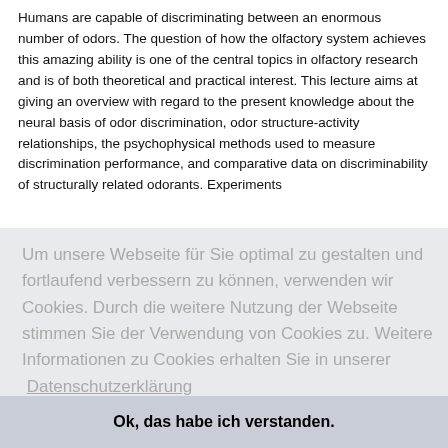Humans are capable of discriminating between an enormous number of odors. The question of how the olfactory system achieves this amazing ability is one of the central topics in olfactory research and is of both theoretical and practical interest. This lecture aims at giving an overview with regard to the present knowledge about the neural basis of odor discrimination, odor structure-activity relationships, the psychophysical methods used to measure discrimination performance, and comparative data on discriminability of structurally related odorants. Experiments
ne of
Um unsere Webseite für Sie optimal zu gestalten und fortlaufend verbessern zu können, verwenden wir Cookies. Durch die weitere Nutzung der Webseite stimmen Sie der Verwendung von Cookies zu. Weitere Informationen zu Cookies erhalten Sie in unserer  Datenschutzerklärung
from a
ts of
by
ious
of life,
nmental
,
possible underlying mechanisms, and coping strategies and social support.
Ok, das habe ich verstanden.